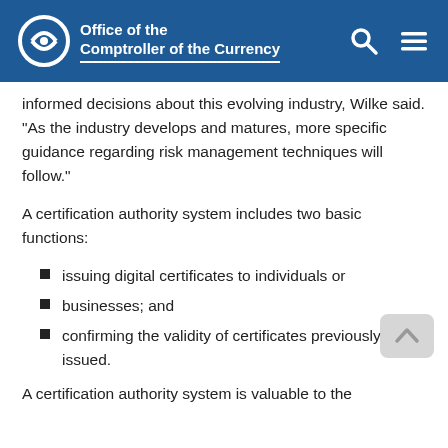Office of the Comptroller of the Currency
informed decisions about this evolving industry, Wilke said. "As the industry develops and matures, more specific guidance regarding risk management techniques will follow."
A certification authority system includes two basic functions:
issuing digital certificates to individuals or
businesses; and
confirming the validity of certificates previously issued.
A certification authority system is valuable to the